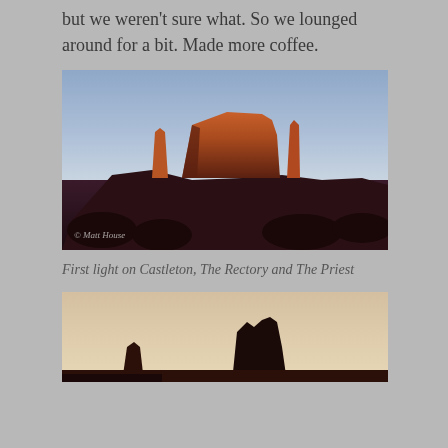but we weren't sure what. So we lounged around for a bit. Made more coffee.
[Figure (photo): Landscape photograph of Castleton Tower, The Rectory and The Priest rock formations in golden first light against a clear blue sky, with dark desert scrubland in the foreground. Photo credit: © Matt House]
First light on Castleton, The Rectory and The Priest
[Figure (photo): Partial landscape photograph showing silhouetted rock formations against a warm pale sky at dusk or dawn, cut off at bottom of page.]